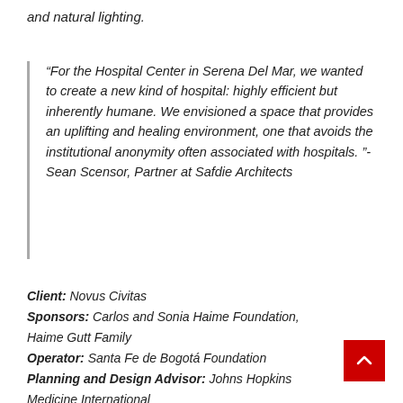and natural lighting.
“For the Hospital Center in Serena Del Mar, we wanted to create a new kind of hospital: highly efficient but inherently humane. We envisioned a space that provides an uplifting and healing environment, one that avoids the institutional anonymity often associated with hospitals. ”- Sean Scensor, Partner at Safdie Architects
Client: Novus Civitas
Sponsors: Carlos and Sonia Haime Foundation, Haime Gutt Family
Operator: Santa Fe de Bogotá Foundation
Planning and Design Advisor: Johns Hopkins Medicine International